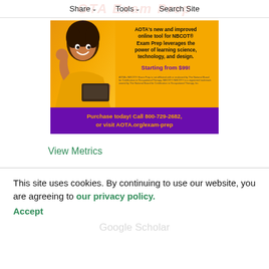Share   Tools   Search Site
[Figure (photo): AOTA Exam Prep advertisement banner. Yellow background with a person in a yellow sweater celebrating, holding a laptop. Text reads: AOTA's new and improved online tool for NBCOT® Exam Prep leverages the power of learning science, technology, and design. Starting from $99! Purchase today! Call 800-729-2682, or visit AOTA.org/exam-prep]
View Metrics
This site uses cookies. By continuing to use our website, you are agreeing to our privacy policy. Accept
Google Scholar